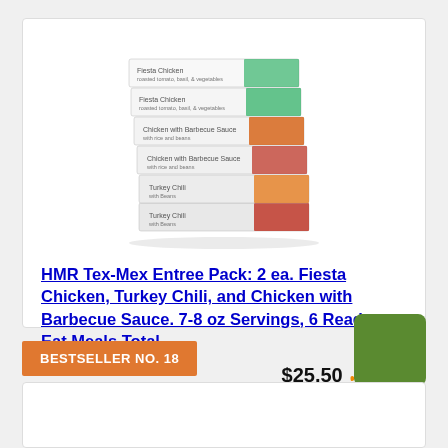[Figure (photo): Stack of 6 HMR meal product boxes showing Fiesta Chicken, Chicken with Barbecue Sauce, and Turkey Chili varieties]
HMR Tex-Mex Entree Pack: 2 ea. Fiesta Chicken, Turkey Chili, and Chicken with Barbecue Sauce. 7-8 oz Servings, 6 Ready to Eat Meals Total
$25.50 Prime
Buy on Amazon
BESTSELLER NO. 18